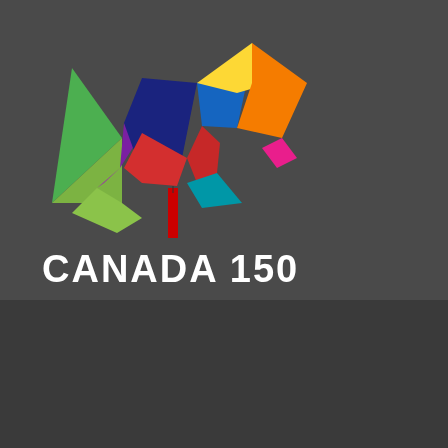[Figure (logo): Canada 150 colorful maple leaf logo made of geometric shapes in green, purple, blue, yellow, orange, red, magenta, teal, and lime green on dark grey background]
CANADA 150
© 2018 GRT Genesis All Rights Reserved.
Website Design by Wiretree
Careers | Photo / Video Gallery | Site Map| Privacy Policy